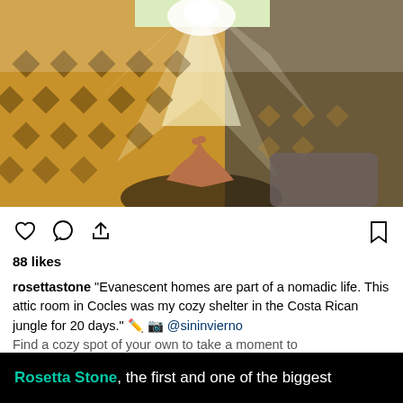[Figure (photo): A photo taken from a hammock perspective showing bare feet resting, with a lattice wooden wall casting diamond-shaped shadows in warm golden light, and bright sunlight streaming through a window in the background. Tropical/jungle attic room atmosphere.]
88 likes
rosettastone "Evanescent homes are part of a nomadic life. This attic room in Cocles was my cozy shelter in the Costa Rican jungle for 20 days." ✏️ 📷 @sininvierno Find a cozy spot of your own to take a moment to
Rosetta Stone, the first and one of the biggest